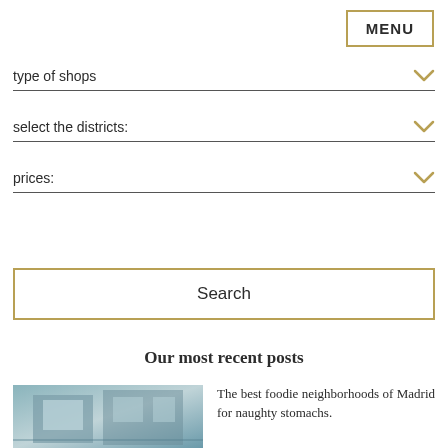MENU
type of shops
select the districts:
prices:
Search
Our most recent posts
[Figure (photo): Exterior of a foodie restaurant or shop with large windows and blue-teal facade]
The best foodie neighborhoods of Madrid for naughty stomachs.